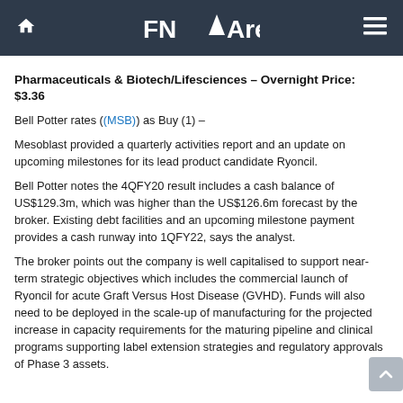FNArena
Pharmaceuticals & Biotech/Lifesciences – Overnight Price: $3.36
Bell Potter rates ((MSB)) as Buy (1) –
Mesoblast provided a quarterly activities report and an update on upcoming milestones for its lead product candidate Ryoncil.
Bell Potter notes the 4QFY20 result includes a cash balance of US$129.3m, which was higher than the US$126.6m forecast by the broker. Existing debt facilities and an upcoming milestone payment provides a cash runway into 1QFY22, says the analyst.
The broker points out the company is well capitalised to support near-term strategic objectives which includes the commercial launch of Ryoncil for acute Graft Versus Host Disease (GVHD). Funds will also need to be deployed in the scale-up of manufacturing for the projected increase in capacity requirements for the maturing pipeline and clinical programs supporting label extension strategies and regulatory approvals of Phase 3 assets.